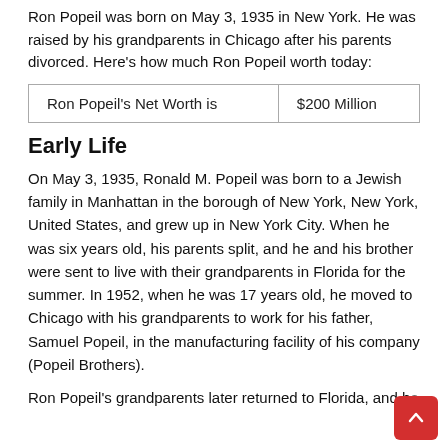Ron Popeil was born on May 3, 1935 in New York. He was raised by his grandparents in Chicago after his parents divorced. Here's how much Ron Popeil worth today:
| Ron Popeil's Net Worth is | $200 Million |
Early Life
On May 3, 1935, Ronald M. Popeil was born to a Jewish family in Manhattan in the borough of New York, New York, United States, and grew up in New York City. When he was six years old, his parents split, and he and his brother were sent to live with their grandparents in Florida for the summer. In 1952, when he was 17 years old, he moved to Chicago with his grandparents to work for his father, Samuel Popeil, in the manufacturing facility of his company (Popeil Brothers).
Ron Popeil's grandparents later returned to Florida, and he